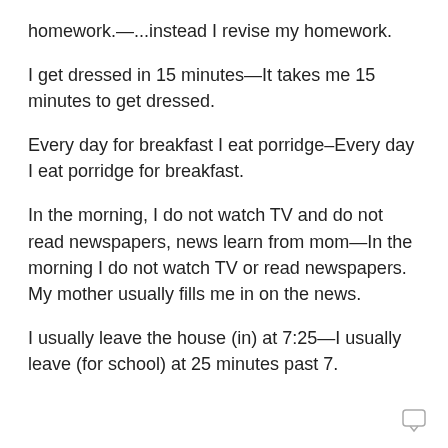homework.—...instead I revise my homework.
I get dressed in 15 minutes—It takes me 15 minutes to get dressed.
Every day for breakfast I eat porridge–Every day I eat porridge for breakfast.
In the morning, I do not watch TV and do not read newspapers, news learn from mom—In the morning I do not watch TV or read newspapers. My mother usually fills me in on the news.
I usually leave the house (in) at 7:25—I usually leave (for school) at 25 minutes past 7.